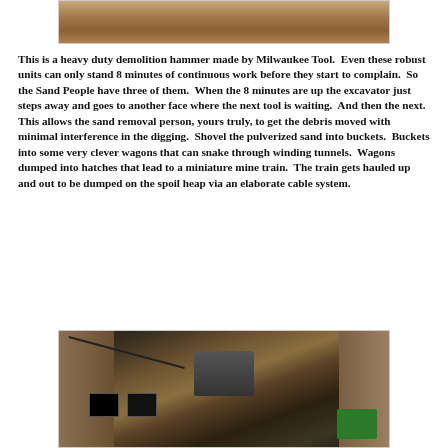[Figure (photo): Top portion of a photo showing what appears to be a demolition hammer or tool, partially visible at the top of the page.]
This is a heavy duty demolition hammer made by Milwaukee Tool.  Even these robust units can only stand 8 minutes of continuous work before they start to complain.  So the Sand People have three of them.  When the 8 minutes are up the excavator just steps away and goes to another face where the next tool is waiting.  And then the next.  This allows the sand removal person, yours truly, to get the debris moved with minimal interference in the digging.  Shovel the pulverized sand into buckets.  Buckets into some very clever wagons that can snake through winding tunnels.  Wagons dumped into hatches that lead to a miniature mine train.  The train gets hauled up and out to be dumped on the spoil heap via an elaborate cable system.
[Figure (photo): Underground excavation site showing a stone/sand tunnel interior with wooden structures, dark hatches/openings in the floor, a green container in the lower right, cables, and wooden supports.]